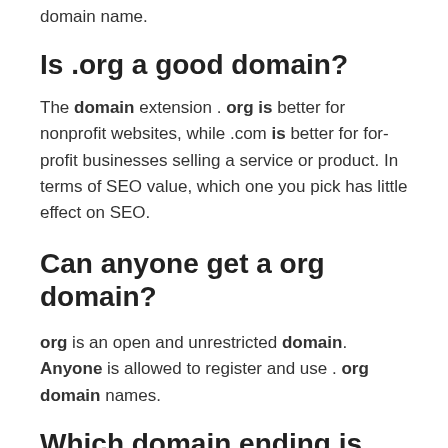domain name.
Is .org a good domain?
The domain extension . org is better for nonprofit websites, while .com is better for for-profit businesses selling a service or product. In terms of SEO value, which one you pick has little effect on SEO.
Can anyone get a org domain?
org is an open and unrestricted domain. Anyone is allowed to register and use . org domain names.
Which domain ending is